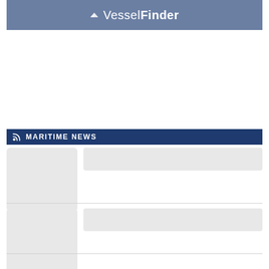[Figure (logo): VesselFinder logo on a steel-blue banner background, with a white origami boat icon and the text 'VesselFinder' where 'Vessel' is normal weight and 'Finder' is bold, all in white.]
MARITIME NEWS
[Figure (other): News article thumbnail placeholder (light gray rounded rectangle) with adjacent title placeholder bar, row 1]
[Figure (other): News article thumbnail placeholder (light gray rounded rectangle) with adjacent title placeholder bar, row 2]
[Figure (other): News article thumbnail placeholder (light gray rounded rectangle), row 3 (partially visible)]